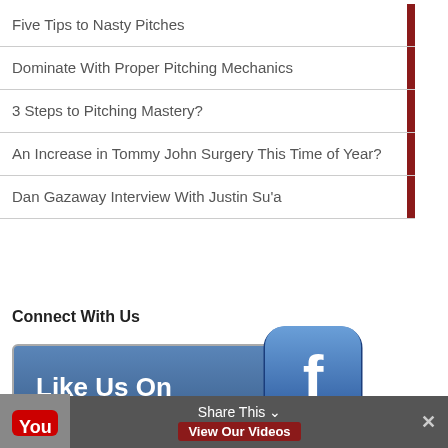Five Tips to Nasty Pitches
Dominate With Proper Pitching Mechanics
3 Steps to Pitching Mastery?
An Increase in Tommy John Surgery This Time of Year?
Dan Gazaway Interview With Justin Su'a
Connect With Us
[Figure (other): Facebook Like Us On button with Facebook icon]
[Figure (other): YouTube icon and Share This / View Our Videos bottom bar]